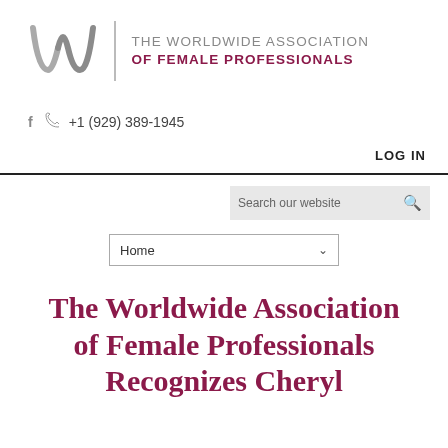[Figure (logo): The Worldwide Association of Female Professionals logo with stylized W graphic and text]
+1 (929) 389-1945
LOG IN
[Figure (other): Search bar with text 'Search our website' and search icon]
[Figure (other): Navigation dropdown showing 'Home']
The Worldwide Association of Female Professionals Recognizes Cheryl